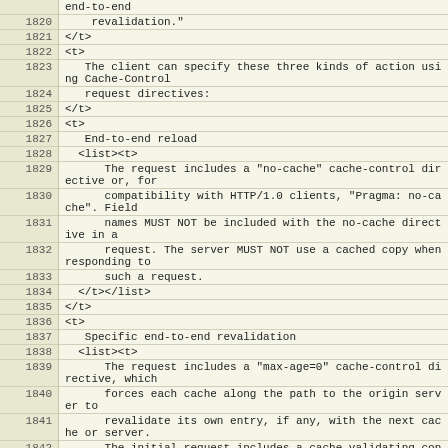| line | code |
| --- | --- |
|  | end-to-end |
| 1820 |     revalidation." |
| 1821 | </t> |
| 1822 | <t> |
| 1823 |    The client can specify these three kinds of action using Cache-Control |
| 1824 |    request directives: |
| 1825 | </t> |
| 1826 | <t> |
| 1827 |    End-to-end reload |
| 1828 |   <list><t> |
| 1829 |       The request includes a "no-cache" cache-control directive or, for |
| 1830 |       compatibility with HTTP/1.0 clients, "Pragma: no-cache". Field |
| 1831 |       names MUST NOT be included with the no-cache directive in a |
| 1832 |       request. The server MUST NOT use a cached copy when responding to |
| 1833 |       such a request. |
| 1834 |   </t></list> |
| 1835 | </t> |
| 1836 | <t> |
| 1837 |    Specific end-to-end revalidation |
| 1838 |   <list><t> |
| 1839 |       The request includes a "max-age=0" cache-control directive, which |
| 1840 |       forces each cache along the path to the origin server to |
| 1841 |       revalidate its own entry, if any, with the next cache or server. |
| 1842 |       The initial request includes a cache-validating conditional with |
| 1843 |       the client's current validator. |